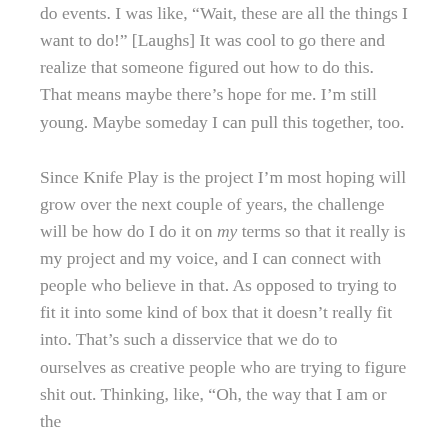do events. I was like, “Wait, these are all the things I want to do!” [Laughs] It was cool to go there and realize that someone figured out how to do this. That means maybe there’s hope for me. I’m still young. Maybe someday I can pull this together, too.
Since Knife Play is the project I’m most hoping will grow over the next couple of years, the challenge will be how do I do it on my terms so that it really is my project and my voice, and I can connect with people who believe in that. As opposed to trying to fit it into some kind of box that it doesn’t really fit into. That’s such a disservice that we do to ourselves as creative people who are trying to figure shit out. Thinking, like, “Oh, the way that I am or the